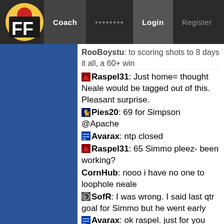FF Coach ........ Login Register
RooBoystu: to scoring shots to 8 days it all, a 60+ win
Raspel31: Just home= thought Neale would be tagged out of this. Pleasant surprise.
Pies20: 69 for Simpson @Apache
Avarax: ntp closed
Raspel31: 65 Simmo pleez- been working?
CornHub: nooo i have no one to loophole neale
SofR: I was wrong. I said last qtr goal for Simmo but he went early
Avarax: ok raspel. just for you
DrSeuss: Why is Walsh starting on the freaking bench
SofR: CornHub. Can you trade for a non-player? Might be worth it.